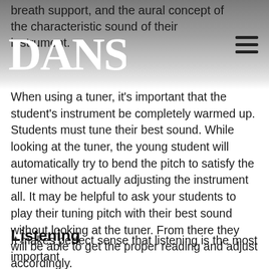breath support, and the aural concept of the characteristic sound of their instrument.
[Figure (logo): DANSR logo in white serif letters on gradient gray background]
When using a tuner, it's important that the student's instrument be completely warmed up. Students must tune their best sound. While looking at the tuner, the young student will automatically try to bend the pitch to satisfy the tuner without actually adjusting the instrument all. It may be helpful to ask your students to play their tuning pitch with their best sound without looking at the tuner. From there they will be able to get the proper reading and adjust accordingly.
Listening
It makes perfect sense that listening is the most important